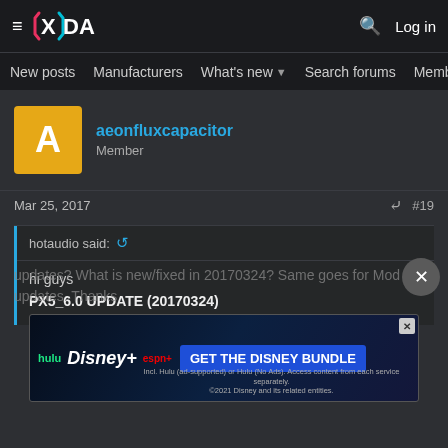XDA Forums – New posts | Manufacturers | What's new | Search forums | Members
aeonfluxcapacitor
Member
Mar 25, 2017  #19
hotaudio said:
hi guys

PX5_6.0 UPDATE (20170324)
updates? What is new/fixed in 20170324? Same goes for Mod updates. Thanks
[Figure (screenshot): Hulu Disney+ ESPN+ advertisement banner: GET THE DISNEY BUNDLE. Incl. Hulu (ad-supported) or Hulu (No Ads). Access content from each service separately. ©2021 Disney and its related entities.]